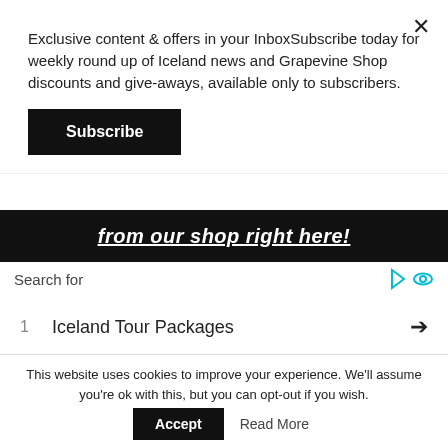Exclusive content & offers in your InboxSubscribe today for weekly round up of Iceland news and Grapevine Shop discounts and give-aways, available only to subscribers.
Subscribe
[Figure (other): Black banner with white bold underlined italic text reading 'from our shop right here!']
Search for
1  Iceland Tour Packages
2  Travel Deals for Seniors
3  Top 10 Tourist Destinations
This website uses cookies to improve your experience. We'll assume you're ok with this, but you can opt-out if you wish.
Accept
Read More